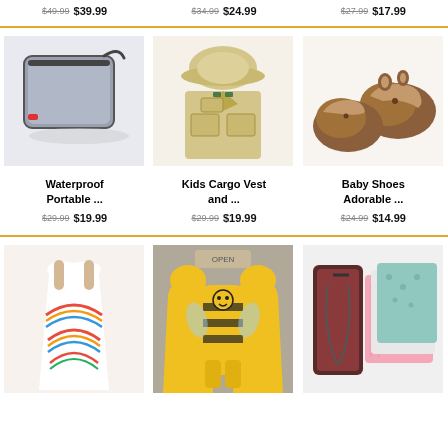$49.99 $39.99 | $34.99 $24.99 | $27.99 $17.99
[Figure (photo): Waterproof portable gray case/wallet with wrist strap on light background]
[Figure (photo): Kids cargo vest with matching hat, khaki/tan color with green accents]
[Figure (photo): Baby shoes shaped like adorable brown deer/bear animals]
Waterproof Portable ...
$29.99 $19.99
Kids Cargo Vest and ...
$29.99 $19.99
Baby Shoes Adorable ...
$24.99 $14.99
[Figure (photo): Baby romper dress with rainbow print pattern]
[Figure (photo): Yellow bee hoodie and pants set for toddler/baby]
[Figure (photo): Baby stroller liner and muslin swaddle blankets set]